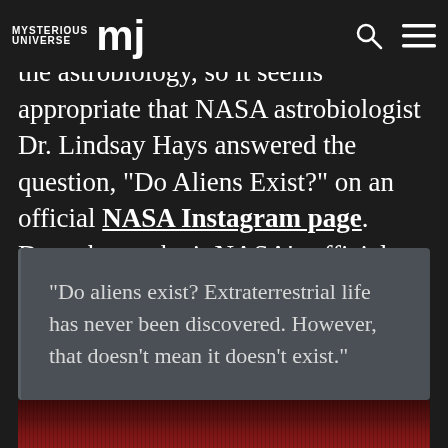MYSTERIOUS UNIVERSE MJ
extraterrestrial intelligence falls under the astrobiology, so it seems appropriate that NASA astrobiologist Dr. Lindsay Hays answered the question, “Do Aliens Exist?” on an official NASA Instagram page. Does that make it NASA’s official stance? Let’s find out.
“Do aliens exist? Extraterrestrial life has never been discovered. However, that doesn’t mean it doesn’t exist.”
[Figure (photo): Reddish-brown textured surface, bottom strip of image]